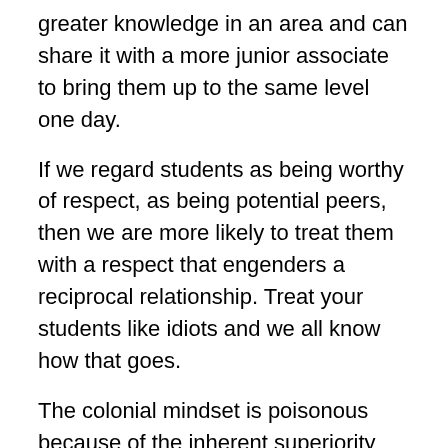greater knowledge in an area and can share it with a more junior associate to bring them up to the same level one day.
If we regard students as being worthy of respect, as being potential peers, then we are more likely to treat them with a respect that engenders a reciprocal relationship. Treat your students like idiots and we all know how that goes.
The colonial mindset is poisonous because of the inherent superiority and because of the value of conformity to imposed rules above the potential to be gained from incorporating new and useful aspects of other cultures. There are many positive aspects of University culture but they can happily coexist with other educational traditions and cultures – the New Zealand higher educational system is making great steps in this direction to be able to